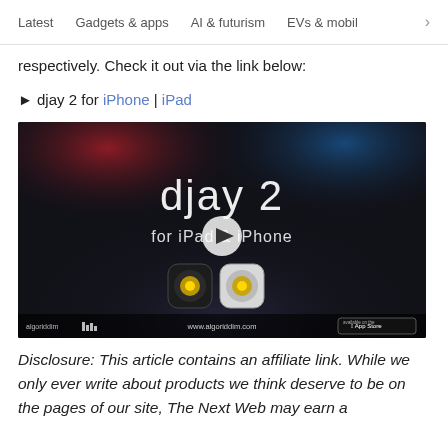Latest   Gadgets & apps   AI & futurism   EVs & mobil  >
respectively. Check it out via the link below:
▶ djay 2 for iPhone | iPad
[Figure (screenshot): Video thumbnail for djay 2 for iPad & iPhone app by Algoriddim, showing the djay 2 logo, app icons, and a play button in the center. Footer shows algoriddim logo, www.algoriddim.com, and App Store badge.]
Disclosure: This article contains an affiliate link. While we only ever write about products we think deserve to be on the pages of our site, The Next Web may earn a